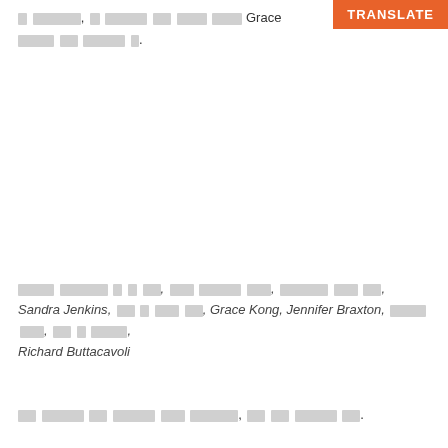[Korean text] Grace [Korean text]
[Figure (other): Orange TRANSLATE button in top-right corner]
[Korean italic text], Sandra Jenkins, [Korean text], Grace Kong, Jennifer Braxton, [Korean text], Richard Buttacavoli
[Korean text]